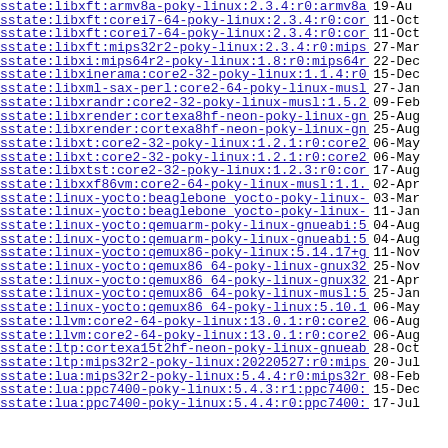sstate:libxft:armv8a-poky-linux:2.3.4:r0:armv8a..> 19-Au
sstate:libxft:corei7-64-poky-linux:2.3.4:r0:cor..> 11-Oct
sstate:libxft:corei7-64-poky-linux:2.3.4:r0:cor..> 11-Oct
sstate:libxft:mips32r2-poky-linux:2.3.4:r0:mips..> 27-Mar
sstate:libxi:mips64r2-poky-linux:1.8:r0:mips64r..> 22-Dec
sstate:libxinerama:core2-32-poky-linux:1.1.4:r0..> 15-Dec
sstate:libxml-sax-perl:core2-64-poky-linux-musl..> 27-Jan
sstate:libxrandr:core2-32-poky-linux-musl:1.5.2..> 09-Feb
sstate:libxrender:cortexa8hf-neon-poky-linux-gn..> 25-Aug
sstate:libxrender:cortexa8hf-neon-poky-linux-gn..> 25-Aug
sstate:libxt:core2-32-poky-linux:1.2.1:r0:core2..> 06-May
sstate:libxt:core2-32-poky-linux:1.2.1:r0:core2..> 06-May
sstate:libxtst:core2-32-poky-linux:1.2.3:r0:cor..> 17-Aug
sstate:libxxf86vm:core2-64-poky-linux-musl:1.1...> 02-Apr
sstate:linux-yocto:beaglebone_yocto-poky-linux-..> 03-Mar
sstate:linux-yocto:beaglebone_yocto-poky-linux-..> 11-Jan
sstate:linux-yocto:qemuarm-poky-linux-gnueabi:5..> 04-Aug
sstate:linux-yocto:qemuarm-poky-linux-gnueabi:5..> 04-Aug
sstate:linux-yocto:qemux86-poky-linux:5.14.17+g..> 11-Nov
sstate:linux-yocto:qemux86_64-poky-linux-gnux32..> 25-Nov
sstate:linux-yocto:qemux86_64-poky-linux-gnux32..> 21-Apr
sstate:linux-yocto:qemux86_64-poky-linux-musl:5..> 25-Jan
sstate:linux-yocto:qemux86_64-poky-linux:5.10.1..> 06-May
sstate:llvm:core2-64-poky-linux:13.0.1:r0:core2..> 06-Aug
sstate:llvm:core2-64-poky-linux:13.0.1:r0:core2..> 06-Aug
sstate:ltp:cortexa15t2hf-neon-poky-linux-gnueab..> 28-Oct
sstate:ltp:mips32r2-poky-linux:20220527:r0:mips..> 20-Jul
sstate:lua:mips32r2-poky-linux:5.4.4:r0:mips32r..> 08-Feb
sstate:lua:ppc7400-poky-linux:5.4.3:r1:ppc7400:..> 15-Dec
sstate:lua:ppc7400-poky-linux:5.4.4:r0:ppc7400:..> 17-Jul